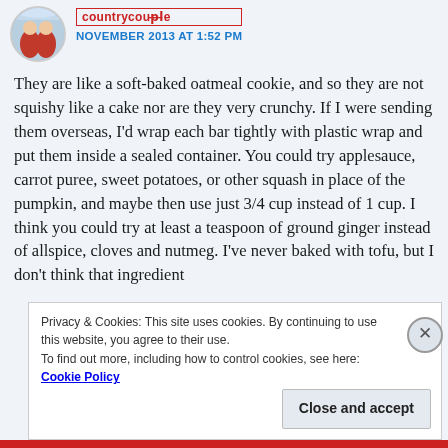[Figure (photo): Round avatar photo showing two people in red coats in a snowy outdoor setting]
countrycounsple
NOVEMBER 2013 AT 1:52 PM
They are like a soft-baked oatmeal cookie, and so they are not squishy like a cake nor are they very crunchy. If I were sending them overseas, I'd wrap each bar tightly with plastic wrap and put them inside a sealed container. You could try applesauce, carrot puree, sweet potatoes, or other squash in place of the pumpkin, and maybe then use just 3/4 cup instead of 1 cup. I think you could try at least a teaspoon of ground ginger instead of allspice, cloves and nutmeg. I've never baked with tofu, but I don't think that ingredient
Privacy & Cookies: This site uses cookies. By continuing to use this website, you agree to their use.
To find out more, including how to control cookies, see here: Cookie Policy
Close and accept